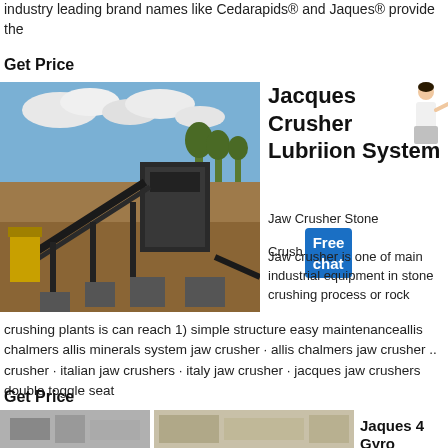industry leading brand names like Cedarapids® and Jaques® provide the
Get Price
[Figure (photo): Industrial stone crushing plant with conveyor belts and crushers outdoors, with palm trees and cloudy sky in background]
Jacques Crusher Lubriion System
Jaw Crusher Stone Crusher Jaw crusher is one of main industrial equipment in stone crushing process or rock
crushing plants is can reach 1) simple structure easy maintenanceallis chalmers allis minerals system jaw crusher · allis chalmers jaw crusher .. crusher · italian jaw crushers · italy jaw crusher · jacques jaw crushers double toggle seat
Get Price
[Figure (photo): Bottom strip showing partial images of crushing equipment]
Jaques 4 Gyro